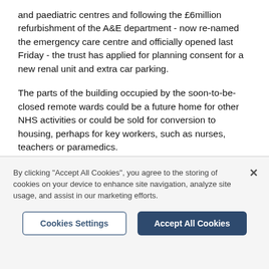and paediatric centres and following the £6million refurbishment of the A&E department - now re-named the emergency care centre and officially opened last Friday - the trust has applied for planning consent for a new renal unit and extra car parking.
The parts of the building occupied by the soon-to-be-closed remote wards could be a future home for other NHS activities or could be sold for conversion to housing, perhaps for key workers, such as nurses, teachers or paramedics.
It would have the added benefit of injecting capital into
By clicking "Accept All Cookies", you agree to the storing of cookies on your device to enhance site navigation, analyze site usage, and assist in our marketing efforts.